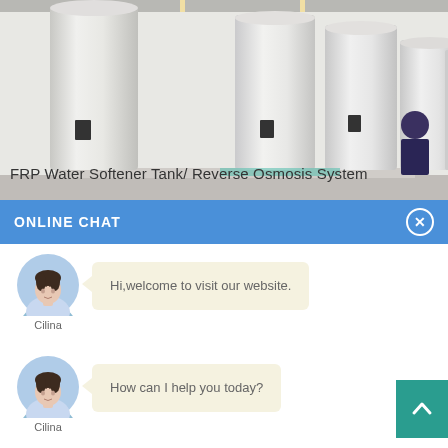[Figure (photo): Factory floor with multiple large white FRP water softener / reverse osmosis system tanks lined up in a row, industrial ceiling with lighting strips visible above.]
FRP Water Softener Tank/ Reverse Osmosis System Tank
ONLINE CHAT
[Figure (photo): Avatar photo of a female customer service representative named Cilina, wearing a light blue shirt, circular cropped portrait.]
Hi,welcome to visit our website.
Cilina
[Figure (photo): Avatar photo of a female customer service representative named Cilina, wearing a light blue shirt, circular cropped portrait.]
How can I help you today?
Cilina